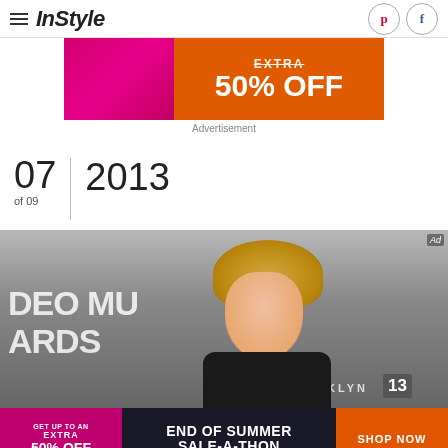InStyle
[Figure (other): Advertisement banner with pink and orange sections showing 'EXTRA 50% OFF']
Advertisement
07 of 09 | 2013
[Figure (photo): Photo of a blonde woman with curly hair at what appears to be the VMAs (Video Music Awards) in Brooklyn. Text visible: 'DEO MU', 'ARDS', 'OOKLYN', '13']
[Figure (other): Bottom advertisement banner: 'GET UP TO AN EXTRA 50% OFF' | 'END OF SUMMER SALE-A-THON' | 'SHOP NOW']